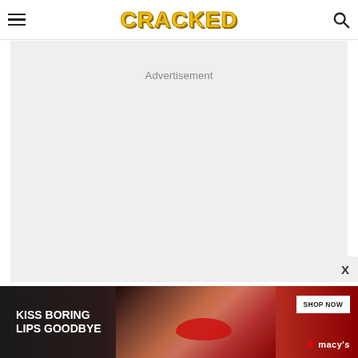CRACKED
[Figure (other): Advertisement placeholder box with light gray background and 'Advertisement' label text centered at the top]
[Figure (other): Banner advertisement for Macy's with text 'KISS BORING LIPS GOODBYE' and 'SHOP NOW' button with Macy's star logo, featuring woman with red lips]